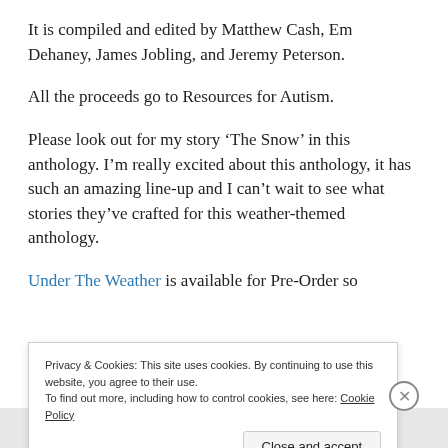It is compiled and edited by Matthew Cash, Em Dehaney, James Jobling, and Jeremy Peterson.
All the proceeds go to Resources for Autism.
Please look out for my story ‘The Snow’ in this anthology. I’m really excited about this anthology, it has such an amazing line-up and I can’t wait to see what stories they’ve crafted for this weather-themed anthology.
Under The Weather is available for Pre-Order so
Privacy & Cookies: This site uses cookies. By continuing to use this website, you agree to their use.
To find out more, including how to control cookies, see here: Cookie Policy
Close and accept